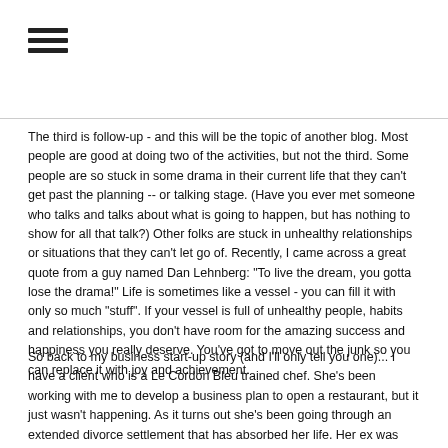[Figure (other): Hamburger menu icon with three horizontal bars]
The third is follow-up - and this will be the topic of another blog. Most people are good at doing two of the activities, but not the third. Some people are so stuck in some drama in their current life that they can't get past the planning -- or talking stage. (Have you ever met someone who talks and talks about what is going to happen, but has nothing to show for all that talk?) Other folks are stuck in unhealthy relationships or situations that they can't let go of. Recently, I came across a great quote from a guy named Dan Lehnberg: "To live the dream, you gotta lose the drama!" Life is sometimes like a vessel - you can fill it with only so much "stuff". If your vessel is full of unhealthy people, habits and relationships, you don't have room for the amazing success and happiness you really deserve. You've got to move out the junk so you can replace it with joy and achievement.
So back to my business start-up story (and I'll only tell you one)... I have a client who is a Le Cordon Bleu trained chef. She's been working with me to develop a business plan to open a restaurant, but it just wasn't happening. As it turns out she's been going through an extended divorce settlement that has absorbed her life. Her ex was apparently just as absorbed for the